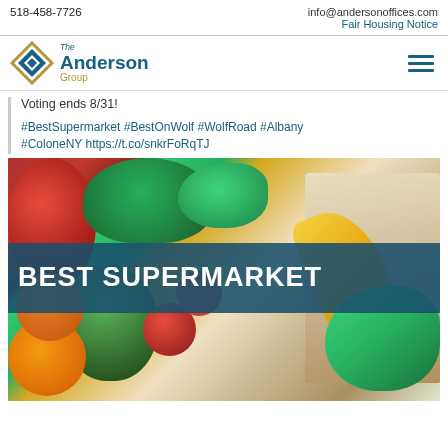518-458-7726    info@andersonoffices.com    Fair Housing Notice
[Figure (logo): The Anderson Group logo with diamond shape and text]
Voting ends 8/31!
#BestSupermarket #BestOnWolf #WolfRoad #Albany #ColoneNY https://t.co/snkrFoRqTJ
[Figure (photo): Grocery bag with fresh produce including red apple, broccoli, avocado, oranges, tomatoes, yellow squash/pepper, and herbs. Overlay banner reads BEST SUPERMARKET]